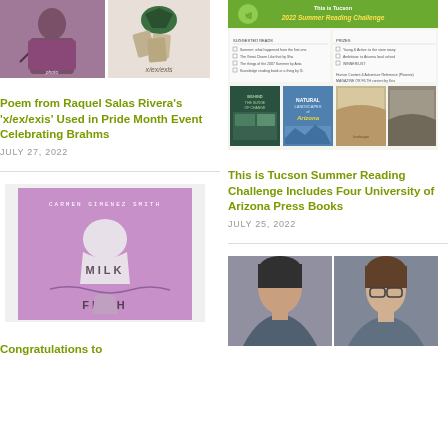[Figure (photo): Photo of Raquel Salas Rivera (person with short dark hair, wearing patterned top) and book cover 'x/ex/exis']
Poem from Raquel Salas Rivera's 'x/ex/exis' Used in Pride Month Event Celebrating Brahms
JULY 27, 2022
[Figure (screenshot): Screenshot of 'This is Tucson 2022 Summer Reading Challenge' page showing book covers including Natural Landscapes of Arizona]
This is Tucson Summer Reading Challenge Includes Four University of Arizona Press Books
JULY 25, 2022
[Figure (photo): Book cover of 'Milk & Filth' by Carmen Gimenez Smith, pink/purple cover with graphic figure]
Congratulations to
[Figure (photo): Two headshot photos of women authors side by side]